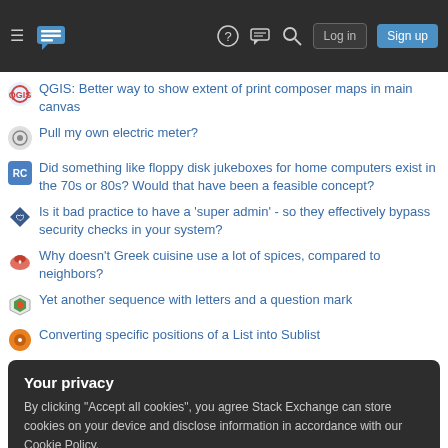Stack Exchange network header with hamburger menu, logo, help, chat, search icons, Log in and Sign up buttons
QGIS: Better way to show extent of print composer maps in main canvas
Pull my own electric meter?
Did something like floppy disk jukeboxes for home computers exist in the 70s or 80s? Would that have been a feasible concept?
Is it bad practice to have a 'super admin' - so they effectively bypass security checks in your system?
Why doesn't Greek cuisine use a lot of spices, compared to neighbors?
Yet another sequence with letters and a question mark
Converting specific positions of a List into Sublist
Your privacy
By clicking "Accept all cookies", you agree Stack Exchange can store cookies on your device and disclose information in accordance with our Cookie Policy.
Accept all cookies | Customize settings
revolution?